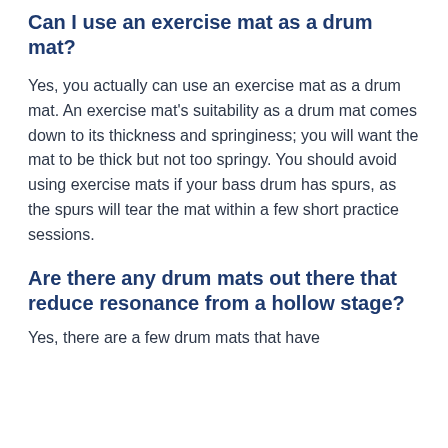Can I use an exercise mat as a drum mat?
Yes, you actually can use an exercise mat as a drum mat. An exercise mat’s suitability as a drum mat comes down to its thickness and springiness; you will want the mat to be thick but not too springy. You should avoid using exercise mats if your bass drum has spurs, as the spurs will tear the mat within a few short practice sessions.
Are there any drum mats out there that reduce resonance from a hollow stage?
Yes, there are a few drum mats that have